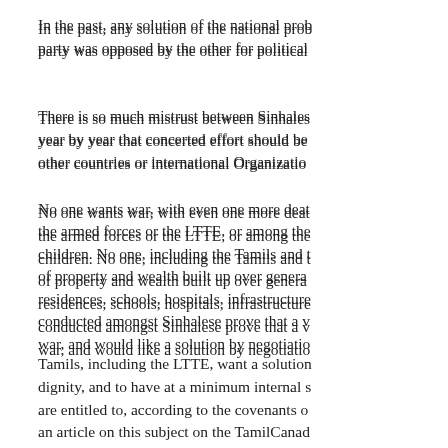In the past, any solution of the national prob... party was opposed by the other for political...
There is so much mistrust between Sinhales... year by year that concerted effort should be... other countries or international Organizatio...
No one wants war, with even one more deat... the armed forces or the LTTE, or among the... children. No one, including the Tamils and t... of property and wealth built up over genera... residences, schools, hospitals, infrastructure... conducted amongst Sinhalese prove that a v... war, and would like a solution by negotiatio...
Tamils, including the LTTE, want a solution... dignity, and to have at a minimum internal s... are entitled to, according to the covenants o... an article on this subject on the TamilCanad...
Loose talk
Most politicians of both major parties are qu... whether they speak on behalf of the party o... which are often in contradiction of party po...